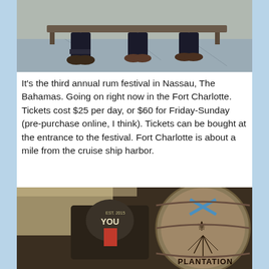[Figure (photo): Photo showing lower bodies/legs of people sitting on a bench outdoors on a stone/concrete surface]
It's the third annual rum festival in Nassau, The Bahamas. Going on right now in the Fort Charlotte. Tickets cost $25 per day, or $60 for Friday-Sunday (pre-purchase online, I think). Tickets can be bought at the entrance to the festival. Fort Charlotte is about a mile from the cruise ship harbor.
[Figure (photo): Photo showing rum festival signage including a 'YOU' branded sign and a Plantation rum barrel/sign at Fort Charlotte rum festival in Nassau, The Bahamas]